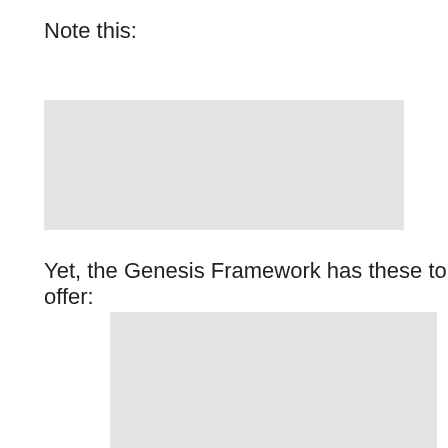Note this:
[Figure (other): Gray placeholder image box]
Yet, the Genesis Framework has these to offer:
[Figure (other): Gray placeholder image box (larger)]